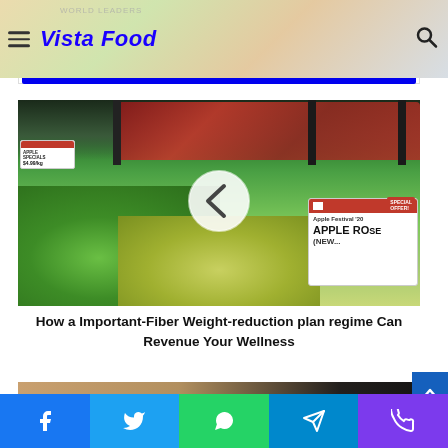Vista Food
[Figure (photo): Vista Food website header with food photography background showing a bowl of fruit and a plate with blueberries and cake. Blue horizontal bar below.]
[Figure (photo): Fruit market display showing green limes, red apples in dark bins, and a sign reading 'Apple Festival '20 APPLE ROSE (NEW...)' with 'SPECIAL OFFER!' sticker. A circular back/left arrow button overlay is visible in the center.]
How a Important-Fiber Weight-reduction plan regime Can Revenue Your Wellness
[Figure (photo): Partial view of a person, bottom of page]
Facebook  Twitter  WhatsApp  Telegram  Phone